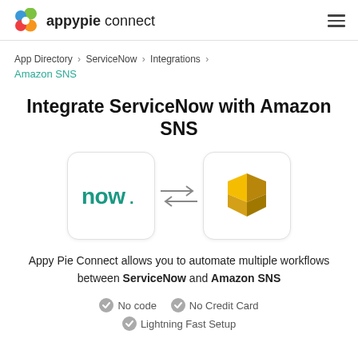appypie connect
App Directory > ServiceNow > Integrations > Amazon SNS
Integrate ServiceNow with Amazon SNS
[Figure (illustration): ServiceNow logo (now.) and Amazon SNS logo with bidirectional arrows between them]
Appy Pie Connect allows you to automate multiple workflows between ServiceNow and Amazon SNS
No code
No Credit Card
Lightning Fast Setup